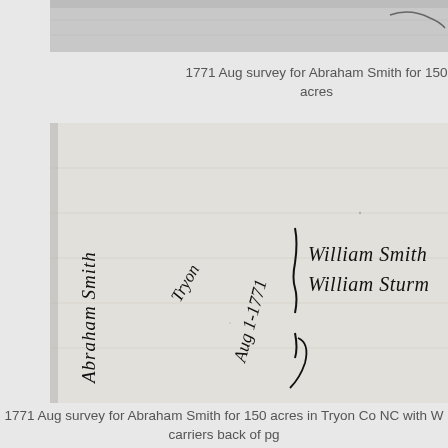[Figure (photo): Top portion of a scanned historical handwritten document, partially visible, cropped at bottom]
1771 Aug survey for Abraham Smith for 150 acres
[Figure (photo): Scanned historical handwritten document from 1771. Contains cursive handwriting including text: Abraham Smith, Tryon, Aug 1-1771, William Smith, William Sturm]
1771 Aug survey for Abraham Smith for 150 acres in Tryon Co NC with W carriers back of pg